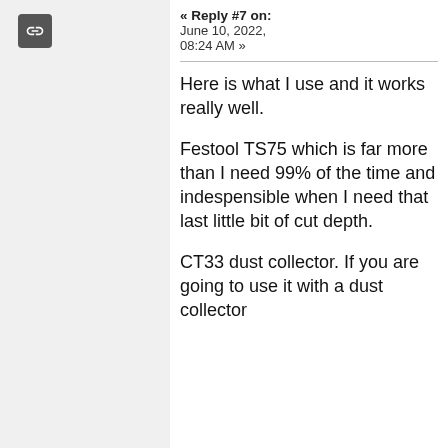[Figure (other): Link/chain icon in a dark rounded square, positioned in the left panel]
« Reply #7 on: June 10, 2022, 08:24 AM »
Here is what I use and it works really well.

Festool TS75 which is far more than I need 99% of the time and indespensible when I need that last little bit of cut depth.
CT33 dust collector. If you are going to use it with a dust collector